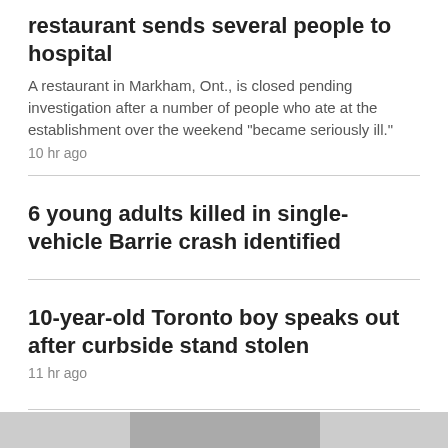restaurant sends several people to hospital
A restaurant in Markham, Ont., is closed pending investigation after a number of people who ate at the establishment over the weekend "became seriously ill."
10 hr ago
6 young adults killed in single-vehicle Barrie crash identified
10-year-old Toronto boy speaks out after curbside stand stolen
11 hr ago
CALGARY
[Figure (photo): Partial image at bottom of page]